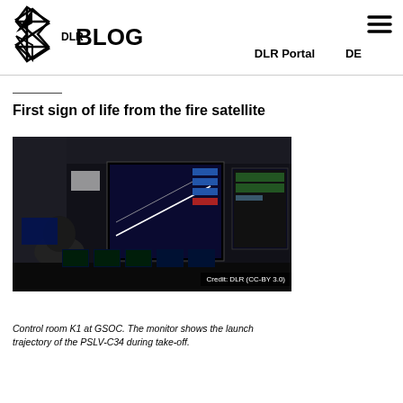DLR BLOG  DLR Portal  DE
(breadcrumb navigation link)
First sign of life from the fire satellite
[Figure (photo): Control room K1 at GSOC showing multiple monitors and workstations. A large central monitor displays the launch trajectory of PSLV-C34 during take-off. Credit: DLR (CC-BY 3.0)]
Control room K1 at GSOC. The monitor shows the launch trajectory of the PSLV-C34 during take-off.